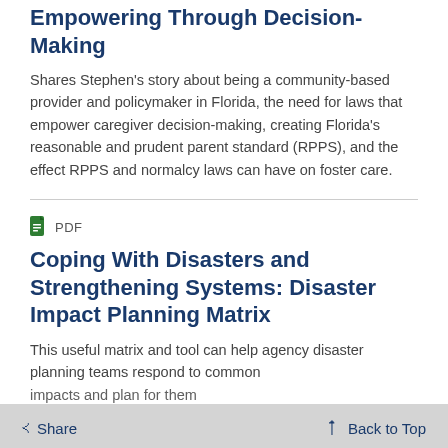Empowering Through Decision-Making
Shares Stephen's story about being a community-based provider and policymaker in Florida, the need for laws that empower caregiver decision-making, creating Florida's reasonable and prudent parent standard (RPPS), and the effect RPPS and normalcy laws can have on foster care.
Coping With Disasters and Strengthening Systems: Disaster Impact Planning Matrix
This useful matrix and tool can help agency disaster planning teams respond to common impacts and plan for them
Share   Back to Top